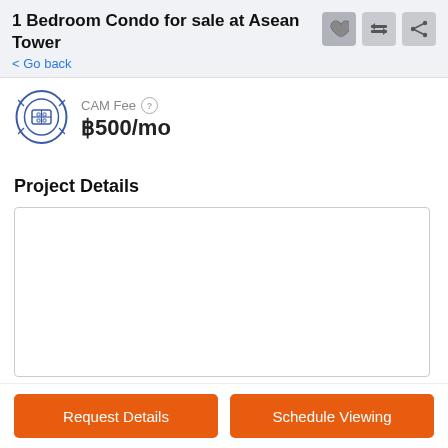1 Bedroom Condo for sale at Asean Tower
Go back
CAM Fee ฿500/mo
Project Details
[Figure (other): Empty white project details box with border]
Request Details
Schedule Viewing